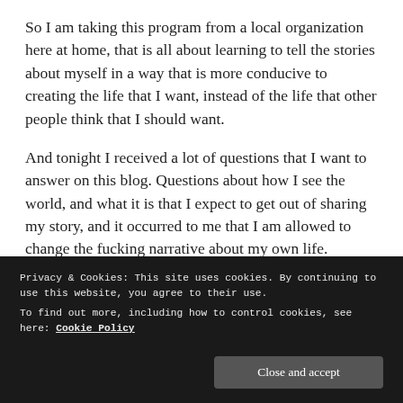So I am taking this program from a local organization here at home, that is all about learning to tell the stories about myself in a way that is more conducive to creating the life that I want, instead of the life that other people think that I should want.
And tonight I received a lot of questions that I want to answer on this blog. Questions about how I see the world, and what it is that I expect to get out of sharing my story, and it occurred to me that I am allowed to change the fucking narrative about my own life.
Privacy & Cookies: This site uses cookies. By continuing to use this website, you agree to their use.
To find out more, including how to control cookies, see here: Cookie Policy
Close and accept
By the way, that is about sharing myself in the opinions of...